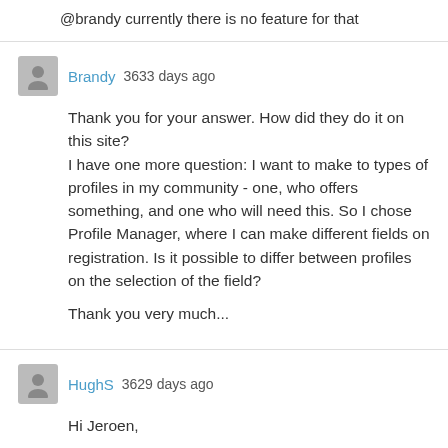@brandy currently there is no feature for that
Brandy 3633 days ago
Thank you for your answer. How did they do it on this site?
I have one more question: I want to make to types of profiles in my community - one, who offers something, and one who will need this. So I chose Profile Manager, where I can make different fields on registration. Is it possible to differ between profiles on the selection of the field?

Thank you very much...
HughS 3629 days ago
Hi Jeroen,